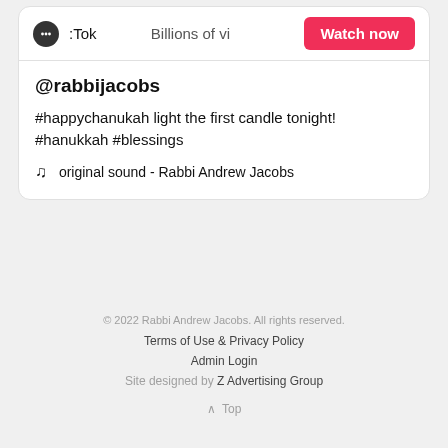[Figure (screenshot): TikTok embedded widget card showing @rabbijacobs post with Watch now button]
@rabbijacobs
#happychanukah light the first candle tonight! #hanukkah #blessings
♫  original sound - Rabbi Andrew Jacobs
© 2022 Rabbi Andrew Jacobs. All rights reserved.
Terms of Use & Privacy Policy
Admin Login
Site designed by Z Advertising Group
∧ Top